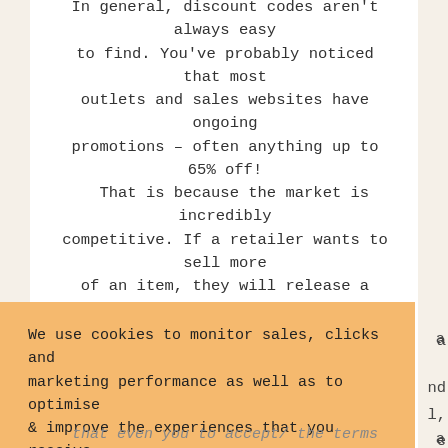In general, discount codes aren't always easy to find. You've probably noticed that most outlets and sales websites have ongoing promotions – often anything up to 65% off! That is because the market is incredibly competitive. If a retailer wants to sell more of an item, they will release a promotional code. And that's where we come in — we find them and show them to you here.
We use cookies to monitor sales, clicks and marketing performance as well as to optimise & improve the experiences that you receive. Learn more
GOT IT!